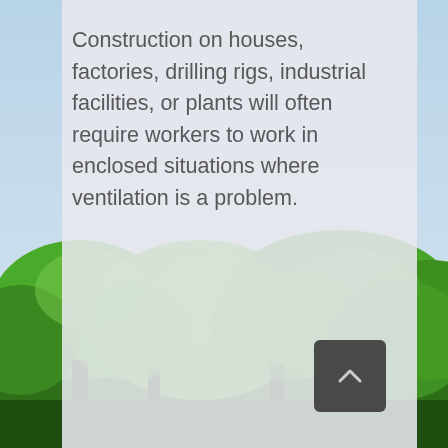[Figure (photo): Outdoor photo background showing green trees and foliage under a light blue sky, with a semi-transparent light grey overlay panel covering the upper center portion of the image.]
Construction on houses, factories, drilling rigs, industrial facilities, or plants will often require workers to work in enclosed situations where ventilation is a problem.